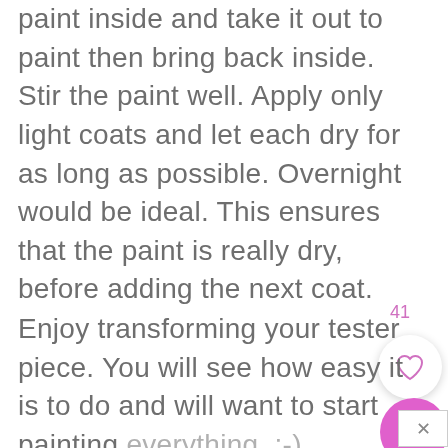paint inside and take it out to paint then bring back inside. Stir the paint well. Apply only light coats and let each dry for as long as possible. Overnight would be ideal. This ensures that the paint is really dry, before adding the next coat.
Enjoy transforming your tester piece. You will see how easy it is to do and will want to start painting everything. :-)